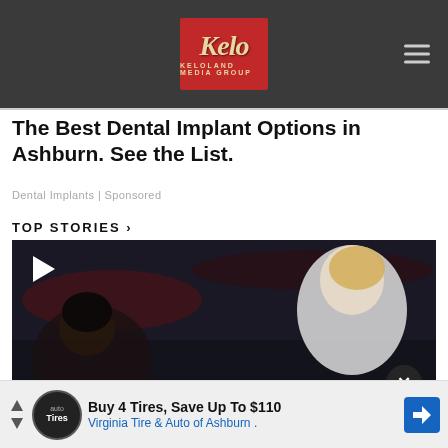[Figure (logo): Keloland Media Group logo on dark grey header bar with hamburger menu icon]
The Best Dental Implant Options in Ashburn. See the List.
Dental Implants | Sponsored
TOP STORIES ›
[Figure (screenshot): Video thumbnail showing athlete celebrating with play button overlay and close (X) button]
Buy 4 Tires, Save Up To $110 Virginia Tire & Auto of Ashburn